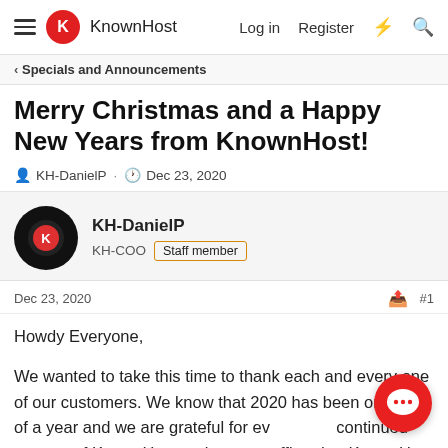KnownHost — Log in  Register
< Specials and Announcements
Merry Christmas and a Happy New Years from KnownHost!
KH-DanielP · Dec 23, 2020
KH-DanielP
KH-COO  Staff member
Dec 23, 2020  #1
Howdy Everyone,
We wanted to take this time to thank each and every one of our customers. We know that 2020 has been one hell of a year and we are grateful for everyone's continued support of KnownHost and want to affirm that KnownHost is here to support you in any